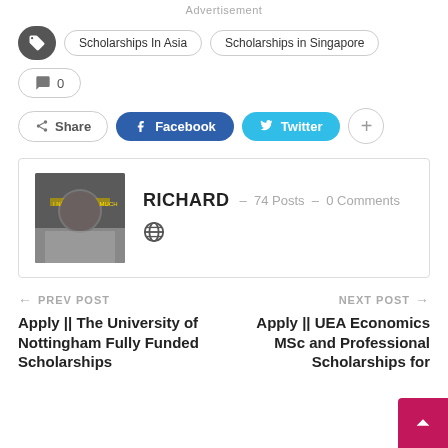Advertisement
Scholarships In Asia
Scholarships in Singapore
0
Share  Facebook  Twitter
RICHARD  –  74 Posts  –  0 Comments
← PREV POST
Apply || The University of Nottingham Fully Funded Scholarships
NEXT POST →
Apply || UEA Economics MSc and Professional Scholarships for